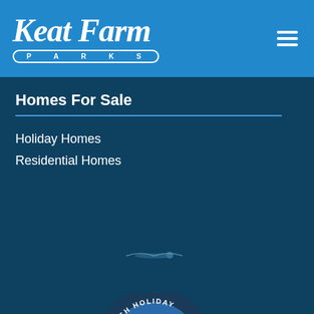[Figure (logo): Keat Farm Parks logo with italic script text and PARKS subtitle in rounded rectangle border, on blue background]
[Figure (illustration): Hamburger menu icon (three white horizontal lines) in top right corner]
Homes For Sale
Holiday Homes
Residential Homes
[Figure (illustration): Small bird silhouette icon in dark teal area]
[Figure (logo): British Holiday Home Parks Association circular badge logo with seagull and green/blue landscape]
[Figure (logo): Partial circular logo visible at bottom of page]